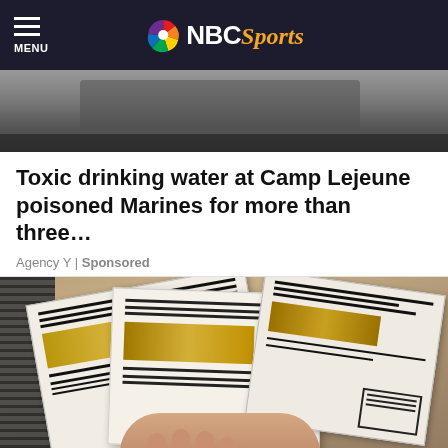MENU | NBC Sports
[Figure (photo): Top hero image, partially visible — appears to show outdoor/person scene in dark tones]
Toxic drinking water at Camp Lejeune poisoned Marines for more than three…
Agency Y | Sponsored
[Figure (photo): Photo of a hand holding multiple documents/checks with redacted/printed text and golden card-like inserts on a wooden table]
Michelin For Marines Received More Ronof...